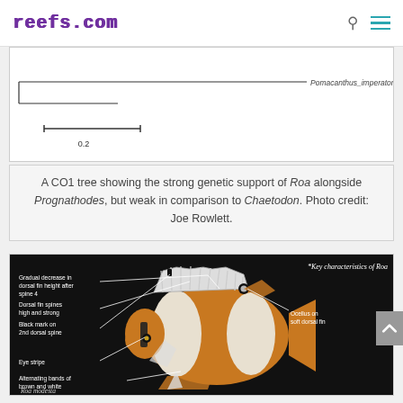reefs.com
[Figure (other): Partial phylogenetic CO1 tree showing Pomacanthus_imperator label and scale bar of 0.2]
A CO1 tree showing the strong genetic support of Roa alongside Prognathodes, but weak in comparison to Chaetodon. Photo credit: Joe Rowlett.
[Figure (illustration): Annotated photograph of Roa modesta fish on black background showing key characteristics: Gradual decrease in dorsal fin height after spine 4, Dorsal fin spines high and strong, Black mark on 2nd dorsal spine, Eye stripe, Alternating bands of brown and white, Ocellus on soft dorsal fin. Title: *Key characteristics of Roa]